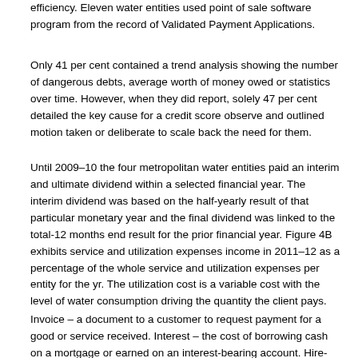efficiency. Eleven water entities used point of sale software program from the record of Validated Payment Applications.
Only 41 per cent contained a trend analysis showing the number of dangerous debts, average worth of money owed or statistics over time. However, when they did report, solely 47 per cent detailed the key cause for a credit score observe and outlined motion taken or deliberate to scale back the need for them.
Until 2009–10 the four metropolitan water entities paid an interim and ultimate dividend within a selected financial year. The interim dividend was based on the half-yearly result of that particular monetary year and the final dividend was linked to the total-12 months end result for the prior financial year. Figure 4B exhibits service and utilization expenses income in 2011–12 as a percentage of the whole service and utilization expenses per entity for the yr. The utilization cost is a variable cost with the level of water consumption driving the quantity the client pays.
Invoice – a document to a customer to request payment for a good or service received. Interest – the cost of borrowing cash on a mortgage or earned on an interest-bearing account. Hire-purchase – a type of contract the place you